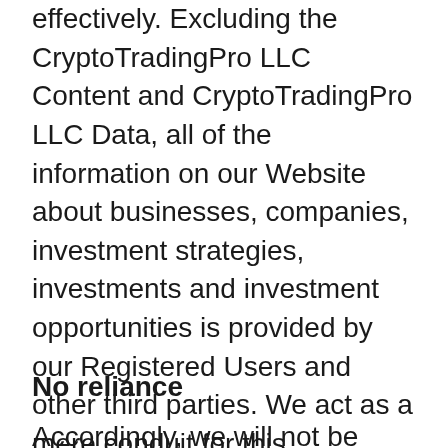effectively. Excluding the CryptoTradingPro LLC Content and CryptoTradingPro LLC Data, all of the information on our Website about businesses, companies, investment strategies, investments and investment opportunities is provided by our Registered Users and other third parties. We act as a mere conduit for this information published on our Website, and we do not select, monitor, edit, modify review, evaluate or otherwise oversee the information or the publication of the information on our Website.
No reliance
Accordingly, we will not be liable, whether in